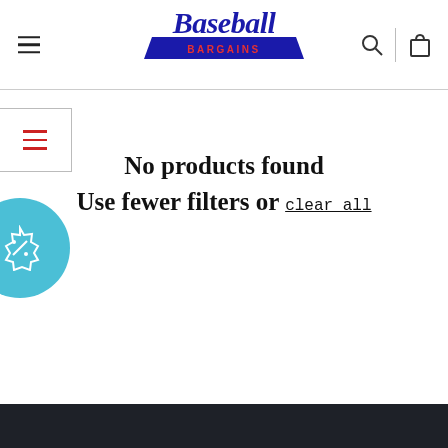Baseball Bargains — navigation header with logo, hamburger menu, search and cart icons
[Figure (screenshot): Filter sidebar toggle box with red hamburger icon lines]
[Figure (illustration): Circular teal discount badge with percent sign icon]
No products found
Use fewer filters or clear all
Dark footer bar